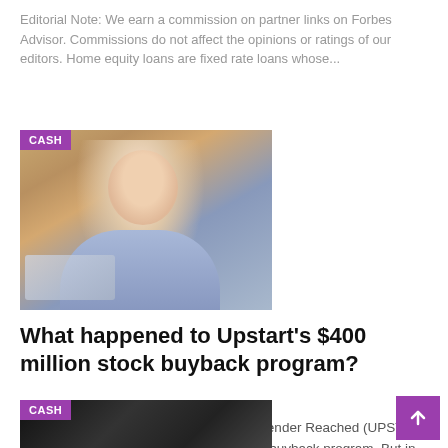Editorial Note: We earn a commission on partner links on Forbes Advisor. Commissions do not affect the opinions or ratings of our editors. Home equity loans are fixed rate loans whose...
[Figure (photo): Woman in blue shirt sitting at a laptop, chin resting on hands, with a CASH category badge in the top-left corner]
What happened to Upstart's $400 million stock buyback program?
ADAM MILLER • May 15, 2022
Earlier this year, the artificial intelligence lender Reached (UPST 16.32%) announced a $400 million share buyback program. But in the first quarter of the year, which ended March 31, Upstart did not buy back any shares....
[Figure (photo): Partial image of dark financial or business content with a CASH category badge]